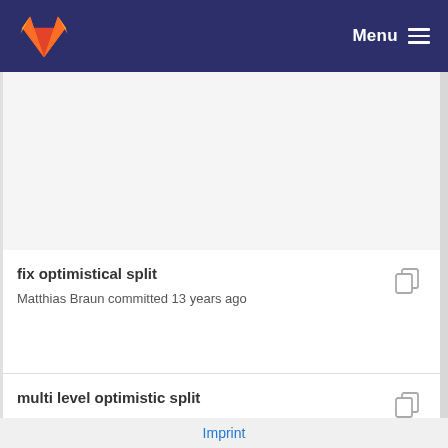Menu
fix optimistical split
Matthias Braun committed 13 years ago
multi level optimistic split
Matthias Braun committed 12 years ago
Imprint